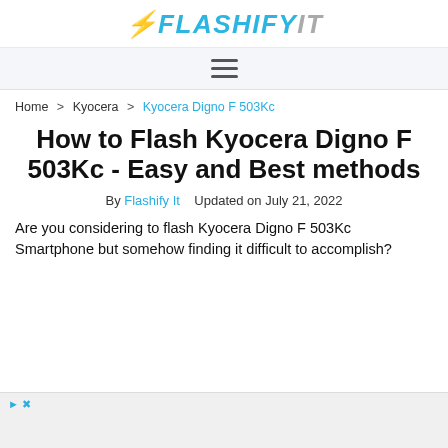FLASHIFY IT
Home > Kyocera > Kyocera Digno F 503Kc
How to Flash Kyocera Digno F 503Kc - Easy and Best methods
By Flashify It   Updated on July 21, 2022
Are you considering to flash Kyocera Digno F 503Kc Smartphone but somehow finding it difficult to accomplish?
[Figure (other): Advertisement banner at the bottom of the page]